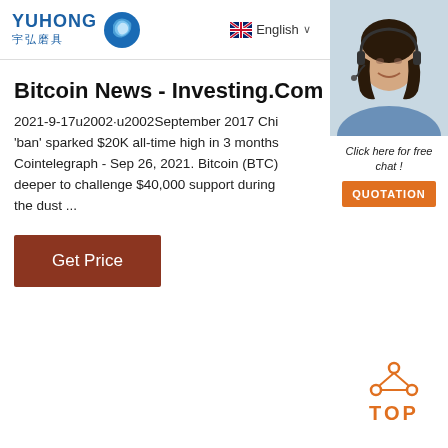YUHONG 宇弘磨具 | English | Menu
Bitcoin News - Investing.Com - Pa
2021-9-17u2002·u2002September 2017 China 'ban' sparked $20K all-time high in 3 months Cointelegraph - Sep 26, 2021. Bitcoin (BTC) deeper to challenge $40,000 support during the dust ...
[Figure (screenshot): Get Price button - dark red/brown colored button with white text]
[Figure (photo): Sidebar chat widget showing 24/7 Online text, woman with headset, Click here for free chat!, and QUOTATION button]
[Figure (illustration): TOP button icon with orange dots arranged in triangle above the word TOP in orange]